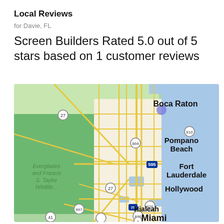Local Reviews
for Davie, FL
Screen Builders Rated 5.0 out of 5 stars based on 1 customer reviews
[Figure (map): Google Maps view showing South Florida coast including Boca Raton, Pompano Beach, Fort Lauderdale, Hollywood, Hialeah, and Miami. Major highways visible include 595, 75, 826, 836, 27, 41, 997, 810, 869, 1. Ocean (Atlantic) shown in blue on the right. Everglades and Francis S. Taylor Wildlife area on the left in green.]